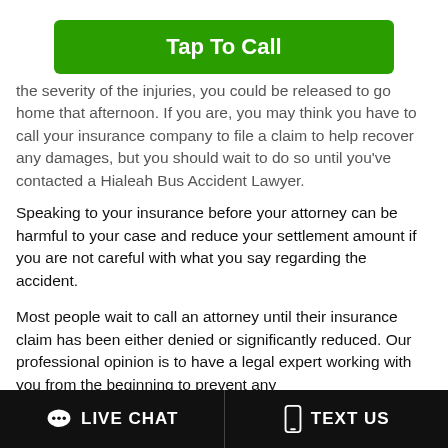[Figure (other): Green 'Tap To Call' button]
the severity of the injuries, you could be released to go home that afternoon. If you are, you may think you have to call your insurance company to file a claim to help recover any damages, but you should wait to do so until you've contacted a Hialeah Bus Accident Lawyer.
Speaking to your insurance before your attorney can be harmful to your case and reduce your settlement amount if you are not careful with what you say regarding the accident.
Most people wait to call an attorney until their insurance claim has been either denied or significantly reduced. Our professional opinion is to have a legal expert working with you from the beginning to prevent any
LIVE CHAT   TEXT US